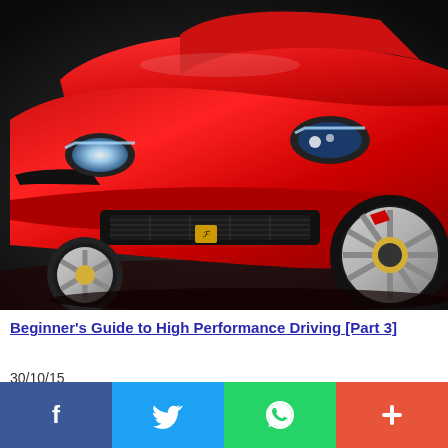[Figure (photo): Front view of a red Ferrari sports car on a dark studio background]
Beginner's Guide to High Performance Driving [Part 3]
30/10/15